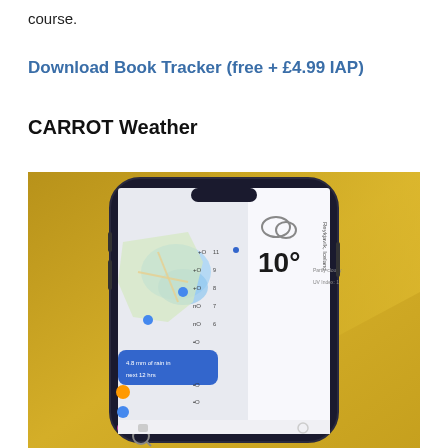course.
Download Book Tracker (free + £4.99 IAP)
CARROT Weather
[Figure (photo): A smartphone displaying the CARROT Weather app interface showing a map with weather data, temperature reading of 10°, and various weather overlays. The phone is placed at an angle on a yellow background.]